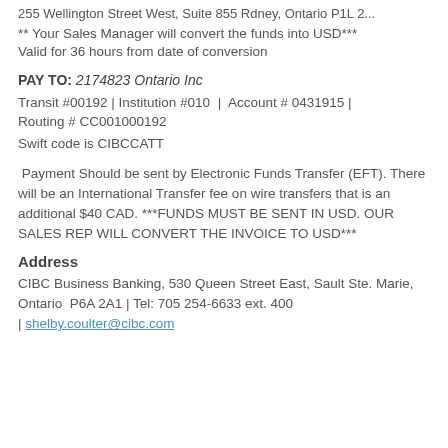255 Wellington Street West, Suite 855 Rdney, Ontario P1L 2...
** Your Sales Manager will convert the funds into USD***
Valid for 36 hours from date of conversion
PAY TO: 2174823 Ontario Inc
Transit #00192 | Institution #010  |  Account # 0431915 | Routing # CC001000192
Swift code is CIBCCATT
Payment Should be sent by Electronic Funds Transfer (EFT). There will be an International Transfer fee on wire transfers that is an additional $40 CAD. ***FUNDS MUST BE SENT IN USD. OUR SALES REP WILL CONVERT THE INVOICE TO USD***
Address
CIBC Business Banking, 530 Queen Street East, Sault Ste. Marie, Ontario  P6A 2A1 | Tel: 705 254-6633 ext. 400 | shelby.coulter@cibc.com